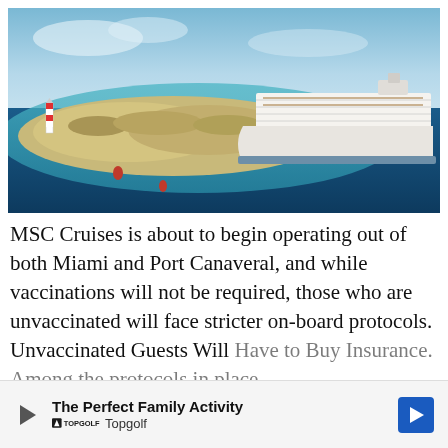[Figure (photo): Aerial view of a large MSC cruise ship docked at a small sandy island with turquoise and deep blue ocean water. A red-and-white striped lighthouse is visible on the left side of the island.]
MSC Cruises is about to begin operating out of both Miami and Port Canaveral, and while vaccinations will not be required, those who are unvaccinated will face stricter on-board protocols. Unvaccinated Guests Will Have to Buy Insurance. Among the protocols in place for unv...
[Figure (other): Advertisement banner for Topgolf: 'The Perfect Family Activity' with Topgolf logo, play button icon, and a blue directional arrow.]